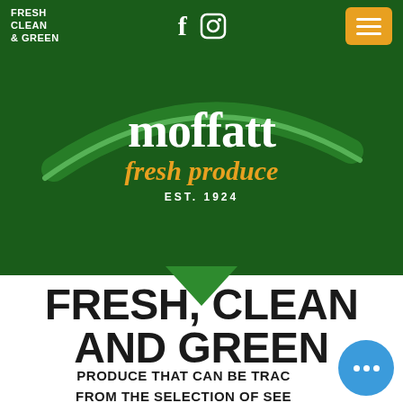FRESH CLEAN & GREEN
[Figure (logo): Moffatt Fresh Produce logo on dark green background with swoosh arcs. Text reads 'moffatt' in white serif, 'fresh produce' in orange italic serif, 'EST. 1924' in white.]
FRESH, CLEAN AND GREEN
PRODUCE THAT CAN BE TRACED FROM THE SELECTION OF SEED TO WHAT IS SERVED ON YOUR PLATE.